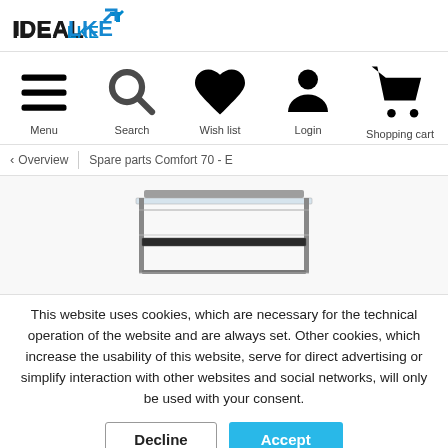[Figure (logo): IDEAL LKE logo with blue arrow accent]
[Figure (screenshot): Navigation bar with Menu, Search, Wish list, Login, Shopping cart icons]
< Overview | Spare parts Comfort 70 - E
[Figure (photo): Product photo of Comfort 70 - E spare parts (glass shelf unit with metal frame)]
This website uses cookies, which are necessary for the technical operation of the website and are always set. Other cookies, which increase the usability of this website, serve for direct advertising or simplify interaction with other websites and social networks, will only be used with your consent.
Decline | Accept